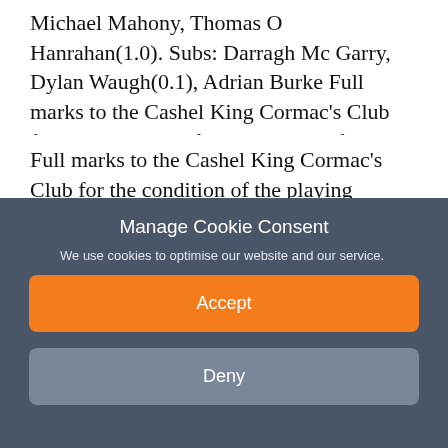Michael Mahony, Thomas O Hanrahan(1.0). Subs: Darragh Mc Garry, Dylan Waugh(0.1), Adrian Burke Full marks to the Cashel King Cormac's Club for the condition of the playing surface today and for their excellent hosting of the game.
Full marks to the Cashel King Cormac's Club for the condition of the playing surface for todays game and for the
Manage Cookie Consent
We use cookies to optimise our website and our service.
Accept
Deny
View Preferences